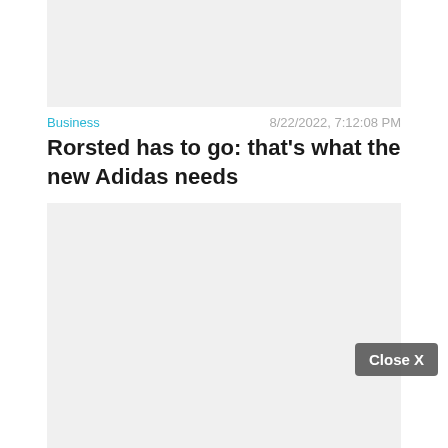[Figure (photo): Gray placeholder image for article thumbnail]
Business    8/22/2022, 7:12:08 PM
Rorsted has to go: that's what the new Adidas needs
[Figure (photo): Gray placeholder image for second article]
Business    8/22/2022, 5:06:38 PM
Electricity crisis in Asia: China is suffering from the heat wave